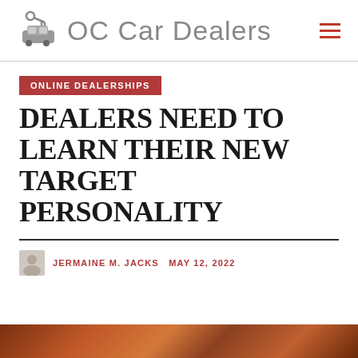OC Car Dealers
ONLINE DEALERSHIPS
DEALERS NEED TO LEARN THEIR NEW TARGET PERSONALITY
JERMAINE M. JACKS  MAY 12, 2022
[Figure (photo): Bottom portion of a photo showing people, partially cropped]